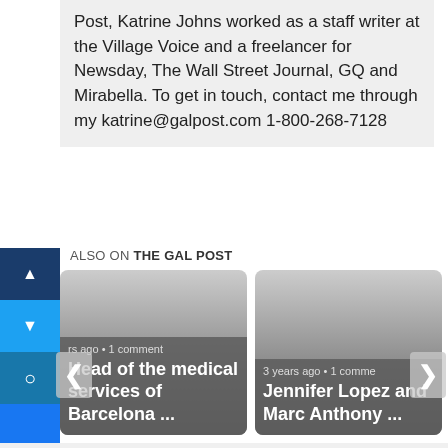Post, Katrine Johns worked as a staff writer at the Village Voice and a freelancer for Newsday, The Wall Street Journal, GQ and Mirabella. To get in touch, contact me through my katrine@galpost.com 1-800-268-7128
ALSO ON THE GAL POST
[Figure (screenshot): Two article cards side by side with navigation arrows. Left card: 'rs ago • 1 comment / Head of the medical services of Barcelona ...'. Right card: '3 years ago • 1 comment / Jennifer Lopez and Marc Anthony ...']
The Gal Post Comment Policy